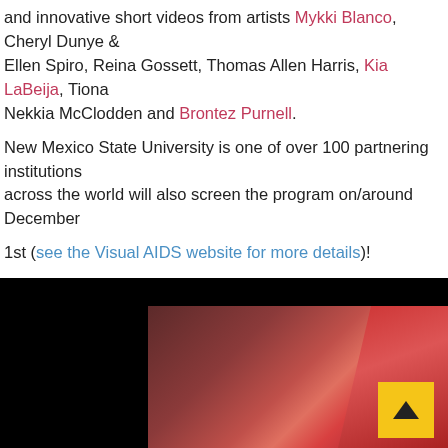and innovative short videos from artists Mykki Blanco, Cheryl Dunye & Ellen Spiro, Reina Gossett, Thomas Allen Harris, Kia LaBeija, Tiona Nekkia McClodden and Brontez Purnell.
New Mexico State University is one of over 100 partnering institutions across the world will also screen the program on/around December 1st (see the Visual AIDS website for more details)!
[Figure (photo): A dark reddish-toned photograph with a black border on the left and top, showing an abstract composition with triangular red/pink shapes against a dark background. A yellow scroll-to-top button is visible in the bottom right corner.]